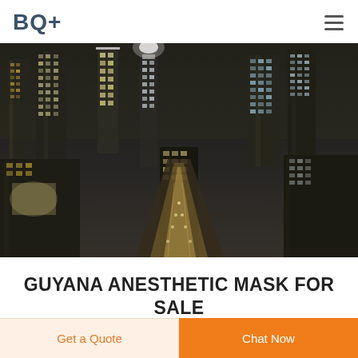BQ+
[Figure (photo): Aerial night cityscape of a major city with illuminated skyscrapers, streets with car light trails, HDR photography style in dark tones with warm highlights]
GUYANA ANESTHETIC MASK FOR SALE
Get a Quote
Chat Now